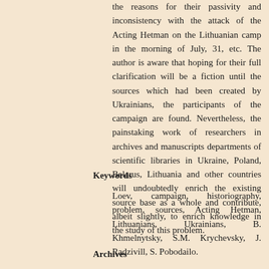the reasons for their passivity and inconsistency with the attack of the Acting Hetman on the Lithuanian camp in the morning of July, 31, etc. The author is aware that hoping for their full clarification will be a fiction until the sources which had been created by Ukrainians, the participants of the campaign are found. Nevertheless, the painstaking work of researchers in archives and manuscripts departments of scientific libraries in Ukraine, Poland, Belarus, Lithuania and other countries will undoubtedly enrich the existing source base as a whole and contribute, albeit slightly, to enrich knowledge in the study of this problem.
Keywords
Loev, campaign, historiography, problem, sources, Acting Hetman, Lithuanians, Ukrainians, B. Khmelnytsky, S.M. Krychevsky, J. Radzivill, S. Pobodailo.
Archives